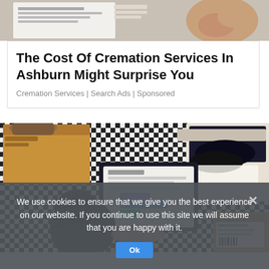[Figure (photo): Partial top image showing a document/receipt and an elderly person's hands]
The Cost Of Cremation Services In Ashburn Might Surprise You
Cremation Services | Search Ads | Sponsored
[Figure (photo): Overhead aerial view of person using a laptop computer surrounded by open cardboard boxes and shoes on a patterned floor]
We use cookies to ensure that we give you the best experience on our website. If you continue to use this site we will assume that you are happy with it.